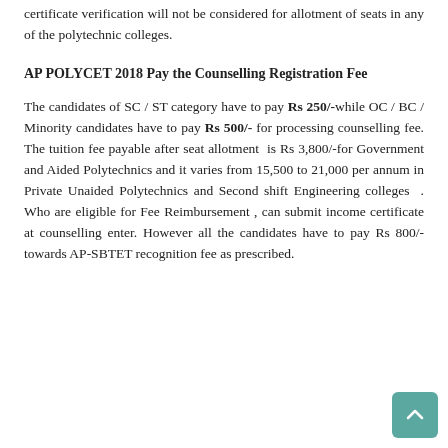certificate verification will not be considered for allotment of seats in any of the polytechnic colleges.
AP POLYCET 2018 Pay the Counselling Registration Fee
The candidates of SC / ST category have to pay Rs 250/-while OC / BC / Minority candidates have to pay Rs 500/- for processing counselling fee. The tuition fee payable after seat allotment is Rs 3,800/-for Government and Aided Polytechnics and it varies from 15,500 to 21,000 per annum in Private Unaided Polytechnics and Second shift Engineering colleges . Who are eligible for Fee Reimbursement , can submit income certificate at counselling enter. However all the candidates have to pay Rs 800/-towards AP-SBTET recognition fee as prescribed.